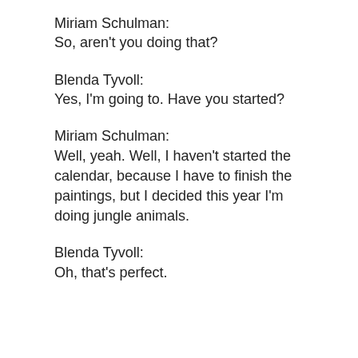Miriam Schulman:
So, aren't you doing that?
Blenda Tyvoll:
Yes, I'm going to. Have you started?
Miriam Schulman:
Well, yeah. Well, I haven't started the calendar, because I have to finish the paintings, but I decided this year I'm doing jungle animals.
Blenda Tyvoll:
Oh, that's perfect.